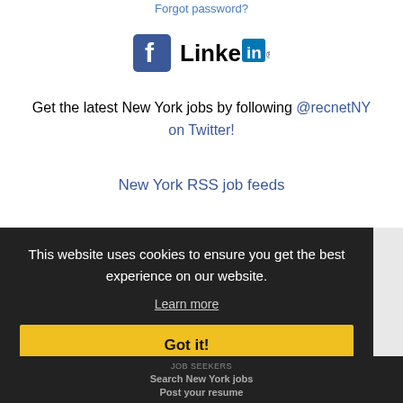Forgot password?
[Figure (logo): Facebook and LinkedIn social login icons]
Get the latest New York jobs by following @recnetNY on Twitter!
New York RSS job feeds
This website uses cookies to ensure you get the best experience on our website.
Learn more
Got it!
JOB SEEKERS
Search New York jobs
Post your resume